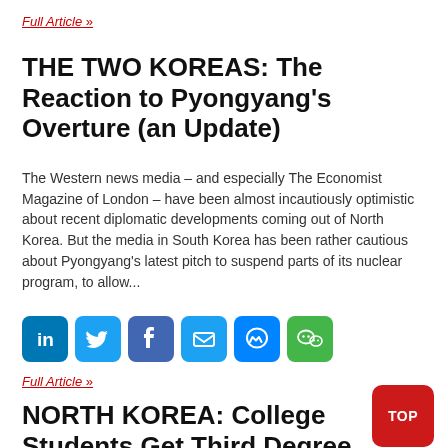Full Article »
THE TWO KOREAS: The Reaction to Pyongyang's Overture (an Update)
The Western news media – and especially The Economist Magazine of London – have been almost incautiously optimistic about recent diplomatic developments coming out of North Korea. But the media in South Korea has been rather cautious about Pyongyang's latest pitch to suspend parts of its nuclear program, to allow...
[Figure (infographic): Social sharing icons: LinkedIn, Twitter, Facebook, Email, Messenger, WeChat]
Full Article »
NORTH KOREA: College Students Get Third Degree on Hurry-up Construction